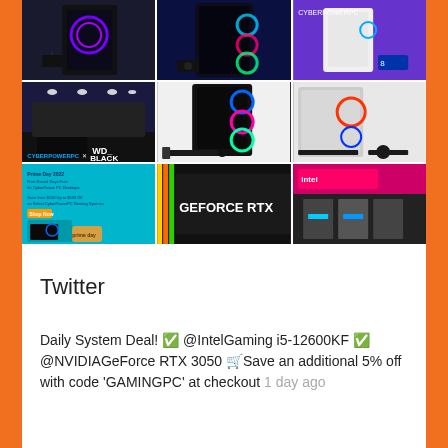[Figure (photo): 3x3 grid of gaming PC images: top row shows dark RGB gaming PCs; middle row shows a CyberPowerPC event booth, a black tower with RGB fans and keyboard, and a silver tower with keyboard and mouse; bottom row shows a Prime Day promotion with gaming PC and box, a close-up of GEFORCE RTX text on a GPU, and an Intel booth display with PC hardware.]
Twitter
Daily System Deal! ✅ @IntelGaming i5-12600KF ✅ @NVIDIAGeForce RTX 3050 🛒Save an additional 5% off with code 'GAMINGPC' at checkout 1 day ago